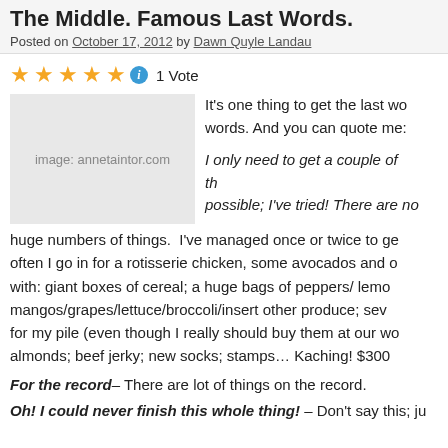The Middle. Famous Last Words.
Posted on October 17, 2012 by Dawn Quyle Landau
[Figure (other): Five gold/yellow star rating icons followed by a blue info icon and '1 Vote' text]
[Figure (photo): Image placeholder with text 'image: annetaintor.com']
It's one thing to get the last words. And you can quote me:
I only need to get a couple of th... possible; I've tried! There are no... huge numbers of things.  I've managed once or twice to ge... often I go in for a rotisserie chicken, some avocados and o... with: giant boxes of cereal; a huge bags of peppers/ lemon... mangos/grapes/lettuce/broccoli/insert other produce; sev... for my pile (even though I really should buy them at our wo... almonds; beef jerky; new socks; stamps… Kaching! $300
For the record– There are lot of things on the record.
Oh! I could never finish this whole thing! – Don't say this; ju...